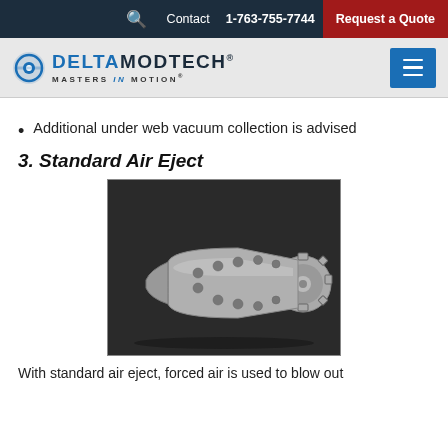Contact 1-763-755-7744 Request a Quote
[Figure (logo): Delta ModTech logo with text MASTERS IN MOTION and hamburger menu button]
Additional under web vacuum collection is advised
3. Standard Air Eject
[Figure (photo): Photograph of a Standard Air Eject cylinder/roller component made of machined aluminum with gear teeth on one end and air holes along the body, on a dark background]
With standard air eject, forced air is used to blow out